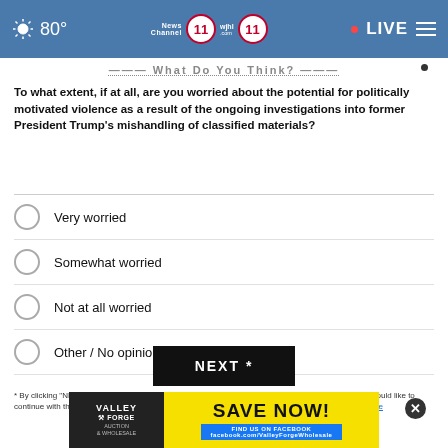80° News Channel 11 wjhl.com 11 • LIVE
What Do You Think?
To what extent, if at all, are you worried about the potential for politically motivated violence as a result of the ongoing investigations into former President Trump's mishandling of classified materials?
Very worried
Somewhat worried
Not at all worried
Other / No opinion
NEXT *
* By clicking "NEXT" you agree to the following: We use cookies to track your survey answers. If you would like to continue with this survey please read and agree to the CivicScience Privacy Policy and Terms of Service
[Figure (photo): Valley Forge Auction & Wholesale advertisement banner with 'SAVE NOW!' text and Facebook page reference]